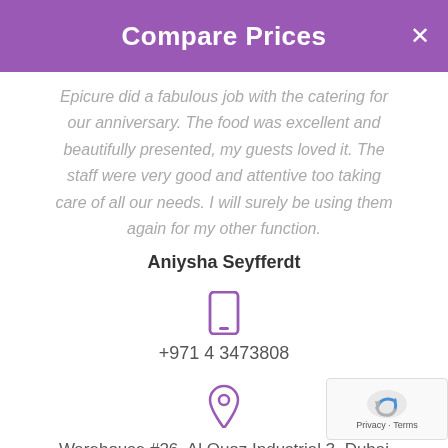Compare Prices
Epicure did a fabulous job with the catering for our anniversary. The food was excellent and beautifully presented, my guests loved it. The staff were very good and attentive too taking care of all our needs. I will surely be using them again for my other function.
Aniysha Seyfferdt
[Figure (illustration): Purple smartphone/mobile phone icon]
+971 4 3473808
[Figure (illustration): Purple map pin / location icon]
Warehouse #26, Al Quoz Industrial 3, Dubai